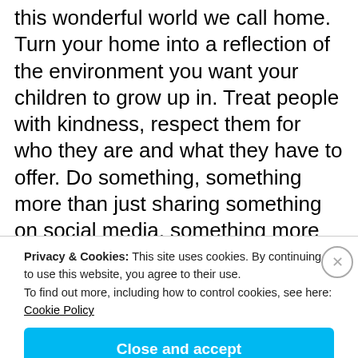this wonderful world we call home. Turn your home into a reflection of the environment you want your children to grow up in. Treat people with kindness, respect them for who they are and what they have to offer. Do something, something more than just sharing something on social media, something more than Hashtag trending, something more than thinking you are doing the world a service by spoiling your children and living a life that is filled with chaos. BE THE EVERY DAY ACTIVIST!
Privacy & Cookies: This site uses cookies. By continuing to use this website, you agree to their use.
To find out more, including how to control cookies, see here: Cookie Policy
Close and accept